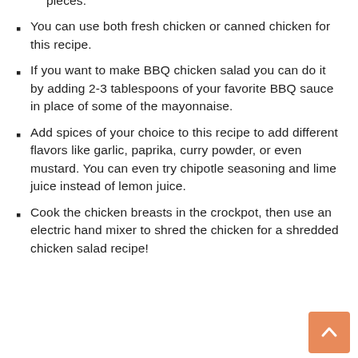pieces.
You can use both fresh chicken or canned chicken for this recipe.
If you want to make BBQ chicken salad you can do it by adding 2-3 tablespoons of your favorite BBQ sauce in place of some of the mayonnaise.
Add spices of your choice to this recipe to add different flavors like garlic, paprika, curry powder, or even mustard. You can even try chipotle seasoning and lime juice instead of lemon juice.
Cook the chicken breasts in the crockpot, then use an electric hand mixer to shred the chicken for a shredded chicken salad recipe!